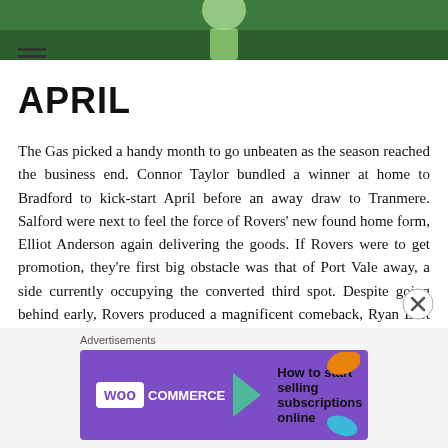[Figure (photo): Hero image showing a football player in a green/lime kit on a grass pitch, cropped to show upper body]
APRIL
The Gas picked a handy month to go unbeaten as the season reached the business end. Connor Taylor bundled a winner at home to Bradford to kick-start April before an away draw to Tranmere. Salford were next to feel the force of Rovers’ new found home form, Elliot Anderson again delivering the goods. If Rovers were to get promotion, they’re first big obstacle was that of Port Vale away, a side currently occupying the converted third spot. Despite going behind early, Rovers produced a magnificent comeback, Ryan Loft getting his first for the season late on to seal a 3-1 victory. Forest Green did wha
Advertisements
[Figure (other): WooCommerce advertisement banner: purple background with WooCommerce logo, green arrow, and text reading 'How to start selling subscriptions online']